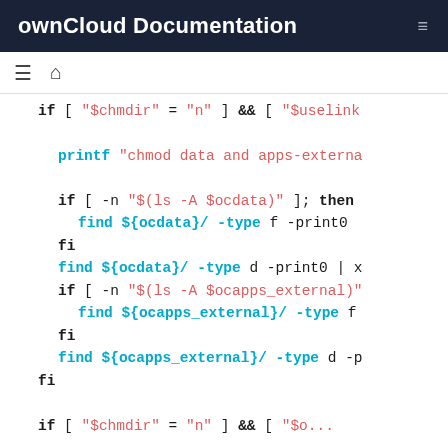ownCloud Documentation
[Figure (screenshot): Navigation bar with list and home icons]
if [ "$chmdir" = "n" ] && [ "$uselink"

    printf "chmod data and apps-external

    if [ -n "$(ls -A $ocdata)" ]; then
      find ${ocdata}/ -type f -print0
    fi
    find ${ocdata}/ -type d -print0 | x
    if [ -n "$(ls -A $ocapps_external)"
      find ${ocapps_external}/ -type f
    fi
    find ${ocapps_external}/ -type d -p
  fi

  if [ "$chmdir" = "n" ] && [ "$o...